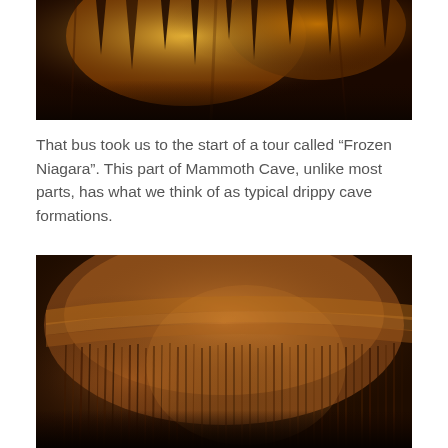[Figure (photo): Cave interior photograph showing orange and amber-lit stalactites hanging from the ceiling of Mammoth Cave, dramatically illuminated against a dark background.]
That bus took us to the start of a tour called “Frozen Niagara”. This part of Mammoth Cave, unlike most parts, has what we think of as typical drippy cave formations.
[Figure (photo): Close-up photograph of cave formations at Mammoth Cave showing layered flowstone and curtain-like draperies with vertical striations, illuminated in warm amber and orange tones.]